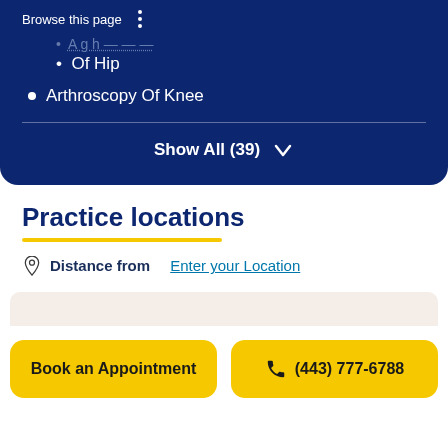Browse this page
Of Hip
Arthroscopy Of Knee
Show All (39)
Practice locations
Distance from Enter your Location
Book an Appointment
(443) 777-6788